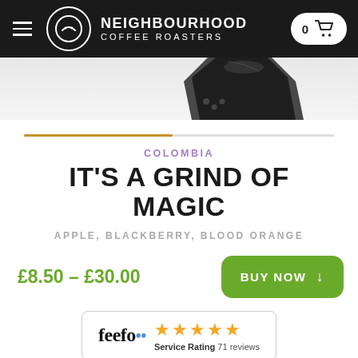NEIGHBOURHOOD COFFEE ROASTERS — Navigation bar with logo and cart
[Figure (photo): Partial view of a dark coffee bag at the top of the product page]
[Figure (infographic): Horizontal progress bar, orange filled on left portion, grey on right]
COLOMBIA
IT'S A GRIND OF MAGIC
APPLE, BLACKBERRY, BLOOD ORANGE
£8.50 – £30.00
[Figure (infographic): BUY NOW button with down arrow, green rounded rectangle]
[Figure (logo): Feefo Service Rating badge showing 5 stars and 71 reviews]